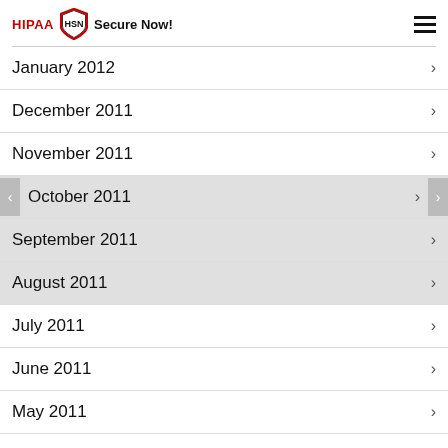HIPAA HSN Secure Now!
January 2012
December 2011
November 2011
October 2011
September 2011
August 2011
July 2011
June 2011
May 2011
April 2011
March 2011